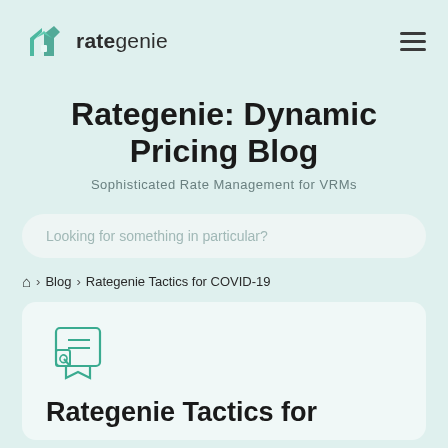[Figure (logo): Rategenie logo — teal house/chevron icon followed by the text 'rategenie' in dark gray]
Rategenie: Dynamic Pricing Blog
Sophisticated Rate Management for VRMs
Looking for something in particular?
⌂ › Blog › Rategenie Tactics for COVID-19
[Figure (illustration): Teal outline icon of a certificate/card with a wrench and checklist items]
Rategenie Tactics for